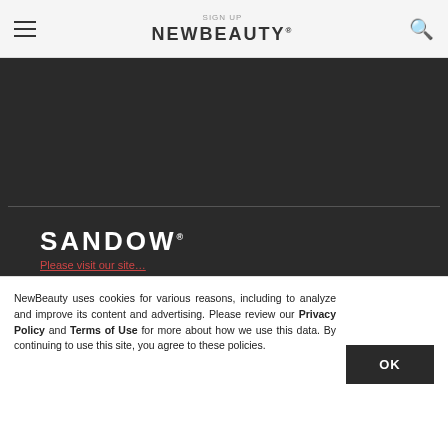SIGN UP | NEWBEAUTY®
[Figure (logo): SANDOW® logo with white bold text and short horizontal underline bar on dark background]
Global Headquarters
3651 NW 8th Ave.
Boca Raton. FL 33431
info@newbeauty.com
NewBeauty uses cookies for various reasons, including to analyze and improve its content and advertising. Please review our Privacy Policy and Terms of Use for more about how we use this data. By continuing to use this site, you agree to these policies.